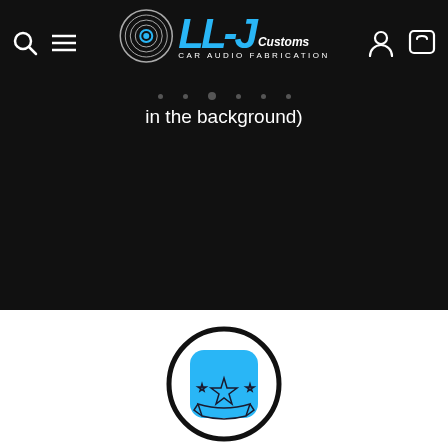[Figure (logo): LLJ Customs Car Audio Fabrication logo with circular speaker graphic and cyan/blue stylized text]
in the background)
[Figure (illustration): Circular badge icon with a cyan/blue rounded square containing a three-star ribbon/award icon in dark outline style]